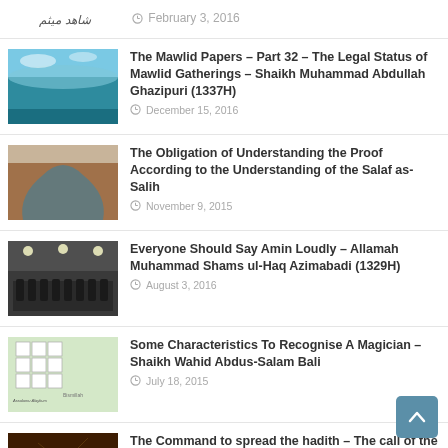February 3, 2016
The Mawlid Papers – Part 32 – The Legal Status of Mawlid Gatherings – Shaikh Muhammad Abdullah Ghazipuri (1337H)
December 15, 2016
The Obligation of Understanding the Proof According to the Understanding of the Salaf as-Salih
November 9, 2015
Everyone Should Say Amin Loudly – Allamah Muhammad Shams ul-Haq Azimabadi (1329H)
August 3, 2016
Some Characteristics To Recognise A Magician – Shaikh Wahid Abdus-Salam Bali
July 18, 2015
The Command to spread the hadith – The call of the Ahl al-Hadith and Salafi's
December 27, 2016